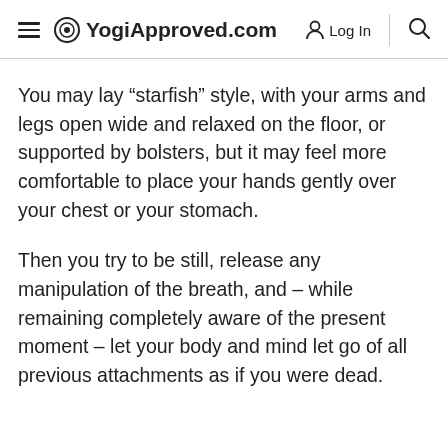YogiApproved.com  Log In
You may lay “starfish” style, with your arms and legs open wide and relaxed on the floor, or supported by bolsters, but it may feel more comfortable to place your hands gently over your chest or your stomach.
Then you try to be still, release any manipulation of the breath, and – while remaining completely aware of the present moment – let your body and mind let go of all previous attachments as if you were dead.